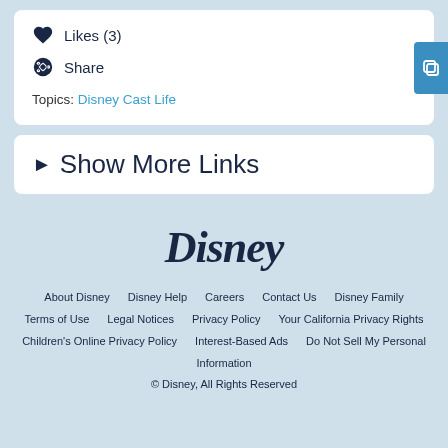♥ Likes (3)
⊙ Share
Topics: Disney Cast Life
► Show More Links
[Figure (logo): Disney logo in cursive script]
About Disney   Disney Help   Careers   Contact Us   Disney Family   Terms of Use   Legal Notices   Privacy Policy   Your California Privacy Rights   Children's Online Privacy Policy   Interest-Based Ads   Do Not Sell My Personal Information   © Disney, All Rights Reserved